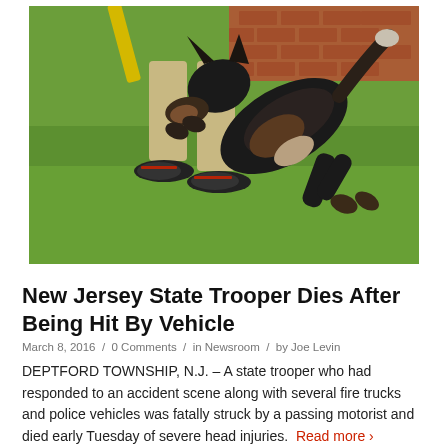[Figure (photo): A German Shepherd dog jumping up and biting/grabbing the leg of a person wearing khaki shorts and black sneakers with red laces, on a green grass lawn with a brick wall visible in the upper right background.]
New Jersey State Trooper Dies After Being Hit By Vehicle
March 8, 2016 / 0 Comments / in Newsroom / by Joe Levin
DEPTFORD TOWNSHIP, N.J. – A state trooper who had responded to an accident scene along with several fire trucks and police vehicles was fatally struck by a passing motorist and died early Tuesday of severe head injuries. Read more ›